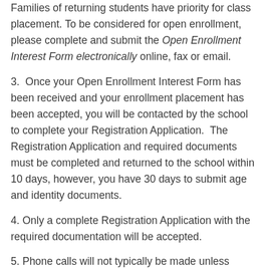Families of returning students have priority for class placement. To be considered for open enrollment, please complete and submit the Open Enrollment Interest Form electronically online, fax or email.
3.  Once your Open Enrollment Interest Form has been received and your enrollment placement has been accepted, you will be contacted by the school to complete your Registration Application.  The Registration Application and required documents must be completed and returned to the school within 10 days, however, you have 30 days to submit age and identity documents.
4. Only a complete Registration Application with the required documentation will be accepted.
5. Phone calls will not typically be made unless additional information is needed.
Thank you for your interest in Happy Valley School.